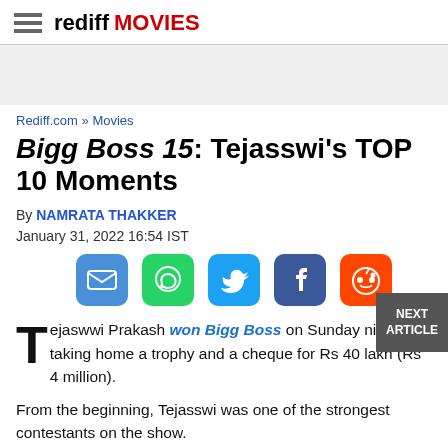rediff MOVIES
Rediff.com » Movies
Bigg Boss 15: Tejasswi's TOP 10 Moments
By NAMRATA THAKKER
January 31, 2022 16:54 IST
[Figure (infographic): Social sharing icons: email, WhatsApp, Twitter, Facebook, Reddit]
Tejaswwi Prakash won Bigg Boss on Sunday night, taking home a trophy and a cheque for Rs 40 lakh (Rs 4 million).
From the beginning, Tejasswi was one of the strongest contestants on the show.
But her journey wasn't easy — there were times that she was...